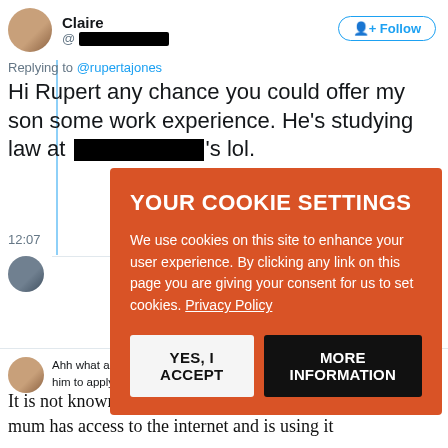[Figure (screenshot): Screenshot of a Twitter/X exchange. User 'Claire' with redacted handle tweets replying to @rupertajones: 'Hi Rupert any chance you could offer my son some work experience. He's studying law at [redacted]'s lol.' at 12:07. Below is a reply tweet and another tweet from Claire saying 'Ahh what a shame.. thought I could bribe you with the M&M's lol I will get him to apply. Thanks for replying. Take care'. A cookie consent modal overlays the screenshot reading 'YOUR COOKIE SETTINGS We use cookies on this site to enhance your user experience. By clicking any link on this page you are giving your consent for us to set cookies. Privacy Policy' with buttons 'YES, I ACCEPT' and 'MORE INFORMATION'.]
It is not known whether the law student is grateful that his mum has access to the internet and is using it